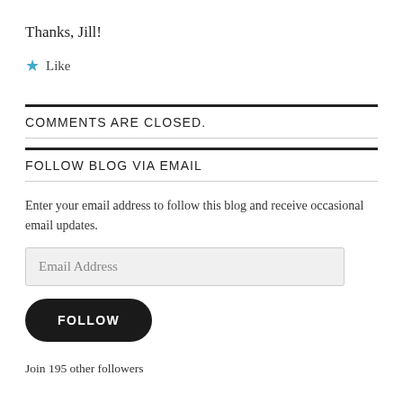Thanks, Jill!
★ Like
COMMENTS ARE CLOSED.
FOLLOW BLOG VIA EMAIL
Enter your email address to follow this blog and receive occasional email updates.
Email Address
FOLLOW
Join 195 other followers